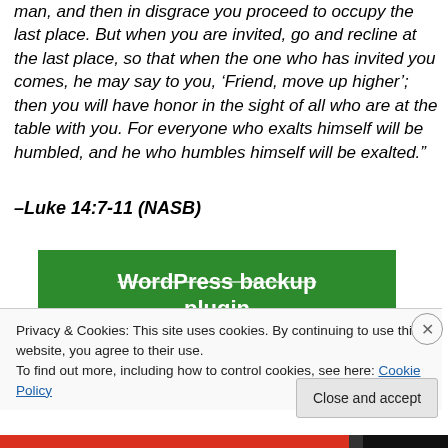man, and then in disgrace you proceed to occupy the last place. But when you are invited, go and recline at the last place, so that when the one who has invited you comes, he may say to you, ‘Friend, move up higher’; then you will have honor in the sight of all who are at the table with you. For everyone who exalts himself will be humbled, and he who humbles himself will be exalted.”
–Luke 14:7-11 (NASB)
[Figure (screenshot): Green banner with white bold text reading 'WordPress backup plugin' with strikethrough styling]
Privacy & Cookies: This site uses cookies. By continuing to use this website, you agree to their use.
To find out more, including how to control cookies, see here: Cookie Policy